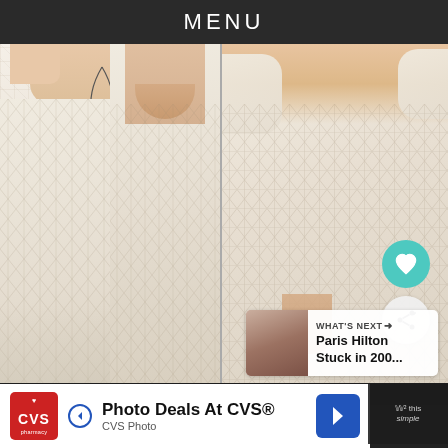MENU
[Figure (photo): Three views of a white/cream lace maxi dress: front view with model wearing necklace, back view showing open back, and close-up front view. A teal heart/favorite button and a share button are overlaid on the right side. A 'What's Next' panel shows a thumbnail and text 'Paris Hilton Stuck in 200...']
Gifts At CVS. Find Deals Today.
Photo Deals At CVS®
CVS Photo